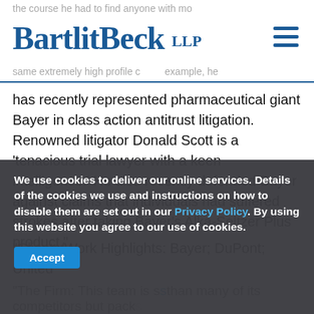BartlitBeck LLP
has recently represented pharmaceutical giant Bayer in class action antitrust litigation. Renowned litigator Donald Scott is a 'tenacious trial lawyer with a keen intelligence.' He also recently defended Bayer against claims that individuals had suffered strokes after taking Bayer's Alka-Seltzer Plus product."
"Clients/Work Highlights: Bayer; DuPont; United
We use cookies to deliver our online services. Details of the cookies we use and instructions on how to disable them are set out in our Privacy Policy. By using this website you agree to our use of cookies.
"The Firm: This team is s than many of its competitors but packs a punch across a full r